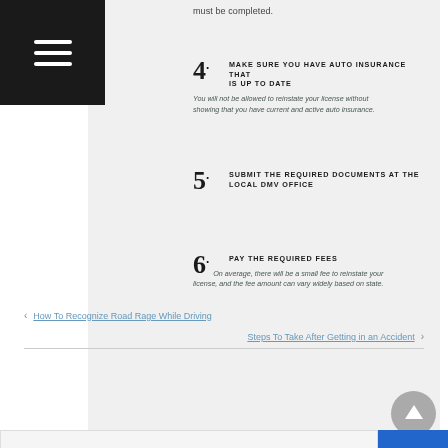[Figure (other): Dark hamburger menu navigation bar in top-left corner]
must be completed.
4. MAKE SURE YOU HAVE AUTO INSURANCE THAT IS UP TO DATE
You will not be allowed to reinstate your license without showing that you have current and active auto insurance.
5. SUBMIT THE REQUIRED DOCUMENTS AT THE LOCAL DMV OFFICE
6. PAY THE REQUIRED FEES
On average, there will be a small fee to reinstate your license, and the fee amount can vary widely based on state.
serenitygroup.com
‹ How To Recognize Road Rage While Driving
Steps To Take After Getting in an Accident ›